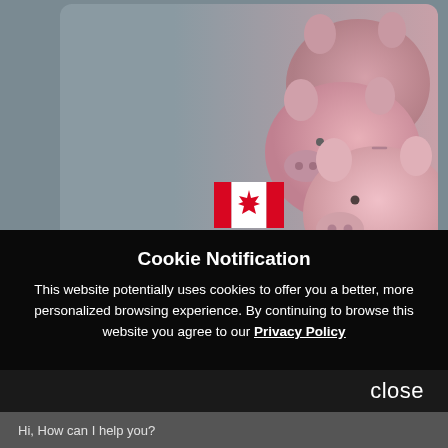[Figure (photo): Pink piggy banks on a gray background with a Canadian flag overlay at the bottom center.]
Cookie Notification
This website potentially uses cookies to offer you a better, more personalized browsing experience. By continuing to browse this website you agree to our Privacy Policy
close
Hi, How can I help you?